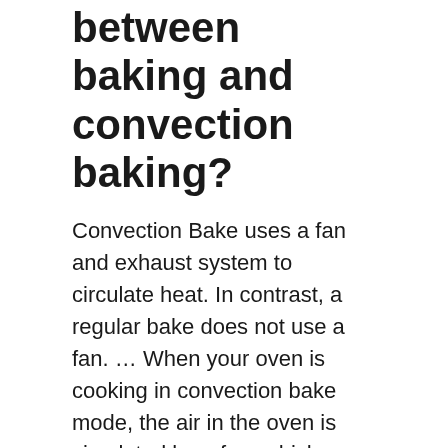between baking and convection baking?
Convection Bake uses a fan and exhaust system to circulate heat. In contrast, a regular bake does not use a fan. … When your oven is cooking in convection bake mode, the air in the oven is circulated by a fan, which eliminates “hot spots” and cooks the food much faster.
INTERESTING:  How do you cook frozen uncooked scones?
What do you use a convection oven for?